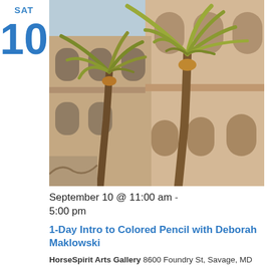SAT
10
[Figure (photo): Painting of two tall palm trees in front of a historic stone building with arched windows and ornate architectural details, under a light blue sky.]
September 10 @ 11:00 am - 5:00 pm
1-Day Intro to Colored Pencil with Deborah Maklowski
HorseSpirit Arts Gallery 8600 Foundry St, Savage, MD
$95